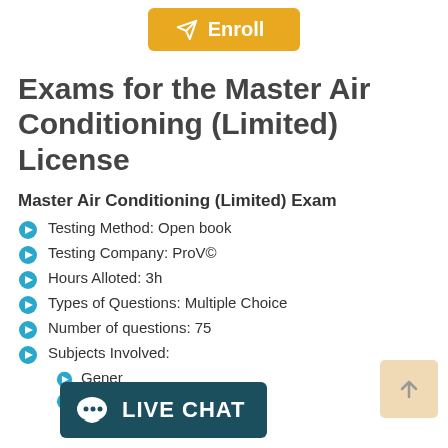[Figure (other): Yellow Enroll button with paper plane icon]
Exams for the Master Air Conditioning (Limited) License
Master Air Conditioning (Limited) Exam
Testing Method: Open book
Testing Company: ProV©
Hours Alloted: 3h
Types of Questions: Multiple Choice
Number of questions: 75
Subjects Involved:
Gener...
Piping...
[Figure (other): Live Chat overlay button with chat bubble icon]